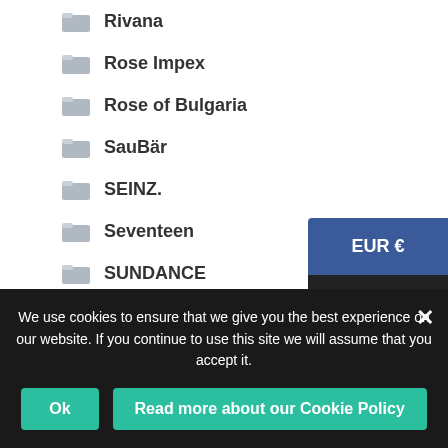Rivana
Rose Impex
Rose of Bulgaria
SauBär
SEINZ.
Seventeen
SUNDANCE
Vivienne Sabo
Products by categories
SALE
EUR €
USD $
We use cookies to ensure that we give you the best experience on our website. If you continue to use this site we will assume that you accept it.
Ok
Read more about our Cookie Policy